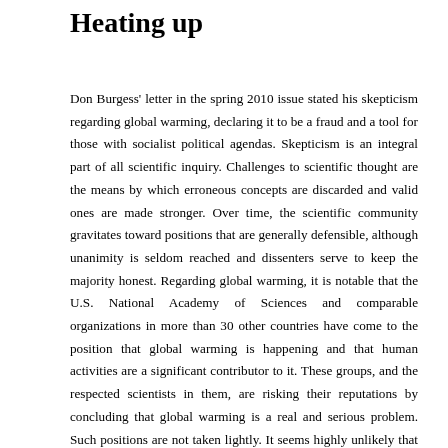Heating up
Don Burgess' letter in the spring 2010 issue stated his skepticism regarding global warming, declaring it to be a fraud and a tool for those with socialist political agendas. Skepticism is an integral part of all scientific inquiry. Challenges to scientific thought are the means by which erroneous concepts are discarded and valid ones are made stronger. Over time, the scientific community gravitates toward positions that are generally defensible, although unanimity is seldom reached and dissenters serve to keep the majority honest. Regarding global warming, it is notable that the U.S. National Academy of Sciences and comparable organizations in more than 30 other countries have come to the position that global warming is happening and that human activities are a significant contributor to it. These groups, and the respected scientists in them, are risking their reputations by concluding that global warming is a real and serious problem. Such positions are not taken lightly. It seems highly unlikely that all of these groups have been fooled and that they support a common political agenda. We should all be skeptical of evolving science, but we should also be open to changing our positions as evidence is collected and authoritative bodies weigh in to the debate.